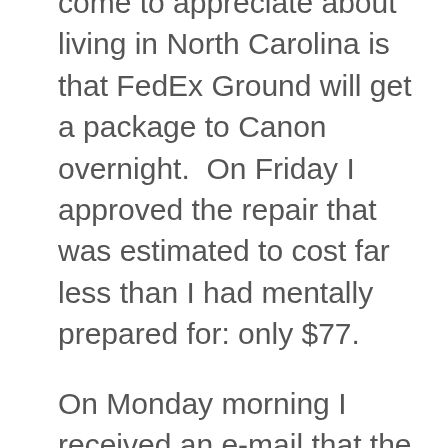come to appreciate about living in North Carolina is that FedEx Ground will get a package to Canon overnight.  On Friday I approved the repair that was estimated to cost far less than I had mentally prepared for: only $77.
On Monday morning I received an e-mail that the factory was out of parts to repair the (discontinued) 550 EX, so they would be replacing it...with a 580 EX Mk. II Speedlite!  I am completely convinced this would not have happened had I not been a member of Canon Professional Services.